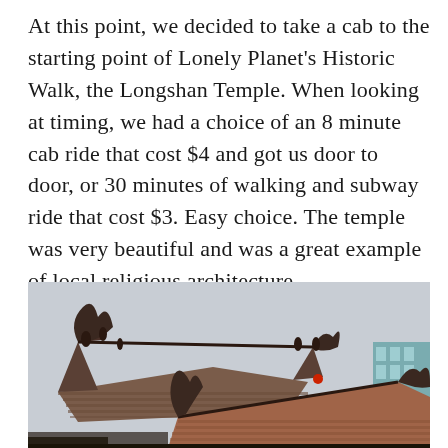At this point, we decided to take a cab to the starting point of Lonely Planet's Historic Walk, the Longshan Temple.  When looking at timing, we had a choice of an 8 minute cab ride that cost $4 and got us door to door, or 30 minutes of walking and subway ride that cost $3.  Easy choice.  The temple was very beautiful and was a great example of local religious architecture.
[Figure (photo): Photograph of ornate Chinese temple rooftops with elaborate decorative ridge figures and curved eaves against a grey overcast sky. A building partially visible in the background on the right.]